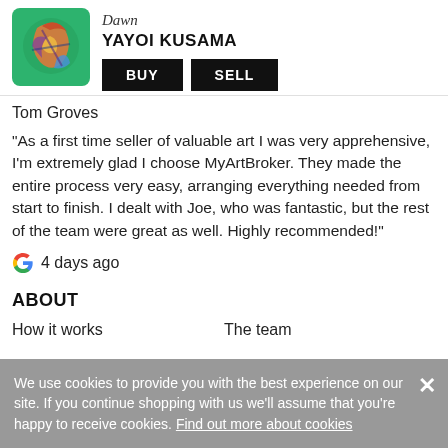[Figure (illustration): Small square artwork thumbnail showing a colorful painting on green background]
Dawn
YAYOI KUSAMA
BUY   SELL
Tom Groves
“As a first time seller of valuable art I was very apprehensive, I'm extremely glad I choose MyArtBroker. They made the entire process very easy, arranging everything needed from start to finish. I dealt with Joe, who was fantastic, but the rest of the team were great as well. Highly recommended!”
G  4 days ago
ABOUT
How it works
The team
We use cookies to provide you with the best experience on our site. If you continue shopping with us we’ll assume that you’re happy to receive cookies. Find out more about cookies